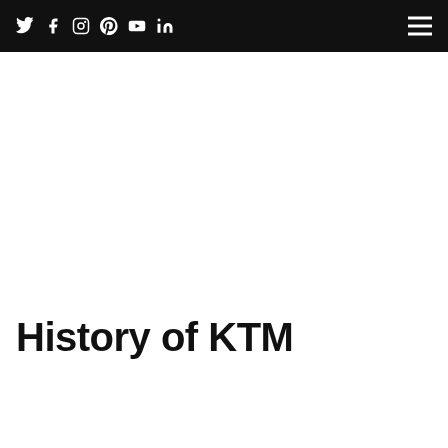Social icons: Twitter, Facebook, Instagram, Pinterest, YouTube, LinkedIn | Hamburger menu
History of KTM